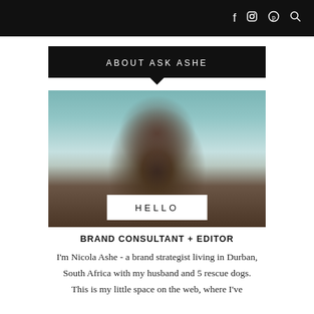f  [instagram]  [pinterest]  [search]
ABOUT ASK ASHE
[Figure (photo): Portrait photo of a smiling woman with dark hair in a bun, wearing a denim jacket, standing in front of teal-painted wooden windows and brown wood wall. White overlay box with text HELLO at bottom center.]
BRAND CONSULTANT + EDITOR
I'm Nicola Ashe - a brand strategist living in Durban, South Africa with my husband and 5 rescue dogs. This is my little space on the web, where I've